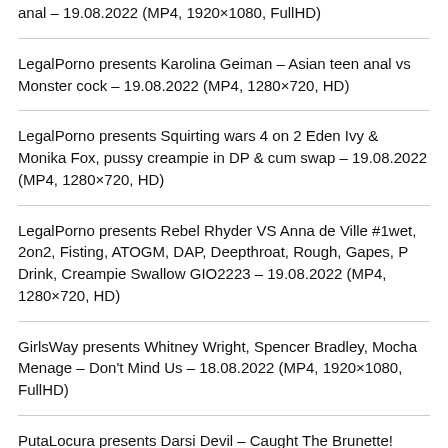anal – 19.08.2022 (MP4, 1920×1080, FullHD)
LegalPorno presents Karolina Geiman – Asian teen anal vs Monster cock – 19.08.2022 (MP4, 1280×720, HD)
LegalPorno presents Squirting wars 4 on 2 Eden Ivy & Monika Fox, pussy creampie in DP & cum swap – 19.08.2022 (MP4, 1280×720, HD)
LegalPorno presents Rebel Rhyder VS Anna de Ville #1wet, 2on2, Fisting, ATOGM, DAP, Deepthroat, Rough, Gapes, P Drink, Creampie Swallow GIO2223 – 19.08.2022 (MP4, 1280×720, HD)
GirlsWay presents Whitney Wright, Spencer Bradley, Mocha Menage – Don't Mind Us – 18.08.2022 (MP4, 1920×1080, FullHD)
PutaLocura presents Darsi Devil – Caught The Brunette! (Pilladas A La Morena!) – 18.08.2022 (MP4, 1280×720,